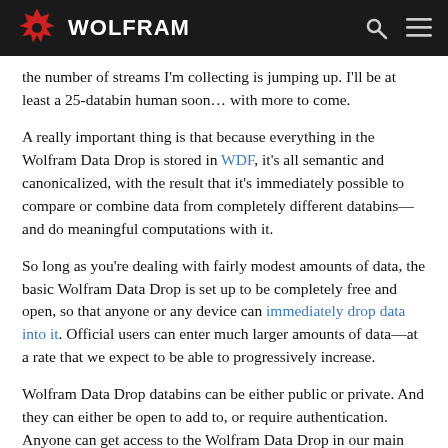WOLFRAM
the number of streams I'm collecting is jumping up. I'll be at least a 25-databin human soon… with more to come.
A really important thing is that because everything in the Wolfram Data Drop is stored in WDF, it's all semantic and canonicalized, with the result that it's immediately possible to compare or combine data from completely different databins—and do meaningful computations with it.
So long as you're dealing with fairly modest amounts of data, the basic Wolfram Data Drop is set up to be completely free and open, so that anyone or any device can immediately drop data into it. Official users can enter much larger amounts of data—at a rate that we expect to be able to progressively increase.
Wolfram Data Drop databins can be either public or private. And they can either be open to add to, or require authentication. Anyone can get access to the Wolfram Data Drop in our main Wolfram Cloud. But organizations that get